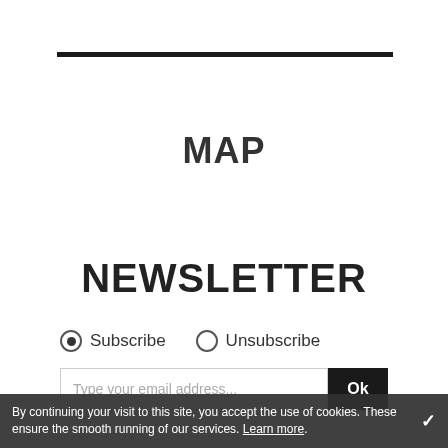MAP
NEWSLETTER
Subscribe   Unsubscribe
Type your email address...   Ok
By continuing your visit to this site, you accept the use of cookies. These ensure the smooth running of our services. Learn more.